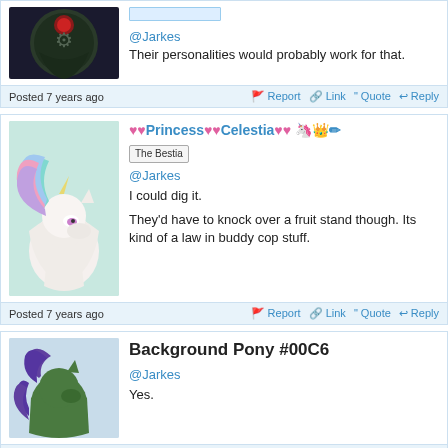@Jarkes
Their personalities would probably work for that.
Posted 7 years ago  Report  Link  Quote  Reply
♥♥Princess♥♥Celestia♥♥ [emojis] The Bestia
@Jarkes
I could dig it.

They'd have to knock over a fruit stand though. Its kind of a law in buddy cop stuff.
Posted 7 years ago  Report  Link  Quote  Reply
Background Pony #00C6
@Jarkes
Yes.
Posted 7 years ago  Report  Link  Quote  Reply